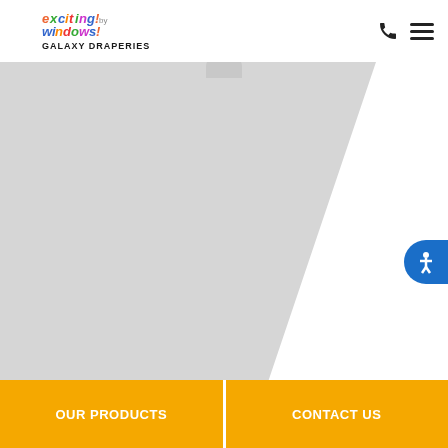[Figure (logo): Exciting Windows! by Galaxy Draperies logo — colorful text logo with phone and hamburger menu icons in header]
[Figure (photo): Large hero image area with light gray background and diagonal white slash cut on the right side, with a small gray arc at top center]
[Figure (infographic): Blue circular accessibility icon button on the right edge of the hero area]
OUR PRODUCTS
CONTACT US